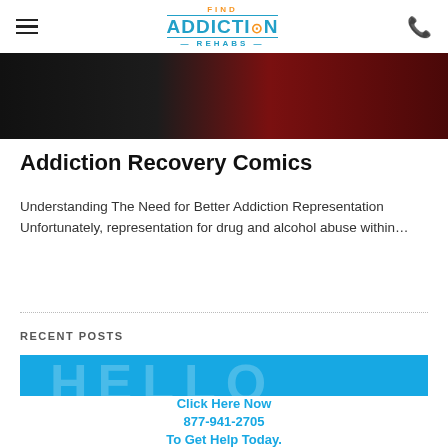Find Addiction Rehabs
[Figure (photo): Dark red and black dramatic background image, partial view at top of page]
Addiction Recovery Comics
Understanding The Need for Better Addiction Representation Unfortunately, representation for drug and alcohol abuse within…
RECENT POSTS
[Figure (photo): Hello My Name Is... blue name tag image with partial text visible, and a scroll-to-top button]
Click Here Now
877-941-2705
To Get Help Today.